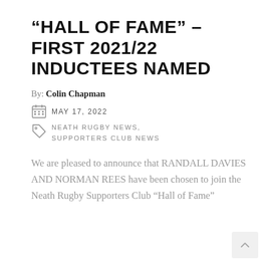“HALL OF FAME” – FIRST 2021/22 INDUCTEES NAMED
By: Colin Chapman
MAY 17, 2022
NEATH RUGBY NEWS, SUPPORTERS CLUB NEWS
We are pleased to announce that RANDALL DAVIES AND NORMAN REES have been chosen to join the Neath Rugby Supporters Club “Hall of Fame”